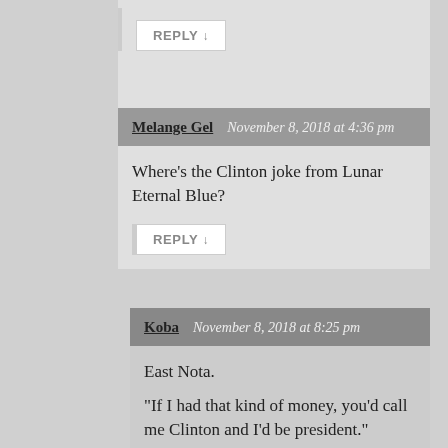REPLY ↓
Melange Gel  November 8, 2018 at 4:36 pm
Where's the Clinton joke from Lunar Eternal Blue?
REPLY ↓
Koba  November 8, 2018 at 8:25 pm
East Nota.

“If I had that kind of money, you’d call me Clinton and I’d be president.”

Sega CD version only, it seems?
REPLY ↓